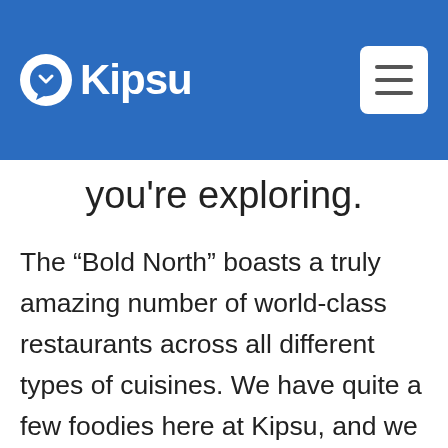Kipsu
you're exploring.
The “Bold North” boasts a truly amazing number of world-class restaurants across all different types of cuisines. We have quite a few foodies here at Kipsu, and we wanted to share our favorite spots around the city to help you make the most out of your trip to Minneapolis for HITEC. Since you will be busy at the convention center most of the day, here are our best recommendations for